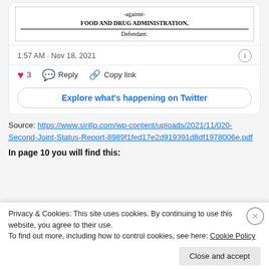[Figure (screenshot): Partial view of a legal court document embedded in a Twitter card, showing '-against-', 'FOOD AND DRUG ADMINISTRATION,' and 'Defendant.']
1:57 AM · Nov 18, 2021
♥ 3   Reply   Copy link
Explore what's happening on Twitter
Source: https://www.sirillp.com/wp-content/uploads/2021/11/020-Second-Joint-Status-Report-8989f1fed17e2d919391d8df1978006e.pdf
In page 10 you will find this:
Privacy & Cookies: This site uses cookies. By continuing to use this website, you agree to their use.
To find out more, including how to control cookies, see here: Cookie Policy
Close and accept